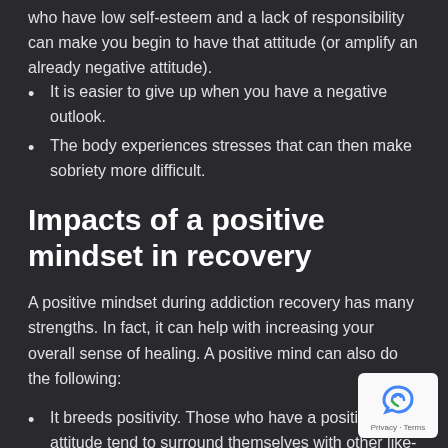who have low self-esteem and a lack of responsibility can make you begin to have that attitude (or amplify an already negative attitude).
It is easier to give up when you have a negative outlook.
The body experiences stresses that can then make sobriety more difficult.
Impacts of a positive mindset in recovery
A positive mindset during addiction recovery has many strengths. In fact, it can help with increasing your overall sense of healing. A positive mind can also do the following:
It breeds positivity. Those who have a positive attitude tend to surround themselves with other like-minded individuals. For those who aren't positive, the positivity can be contagious. This creates a great support system.